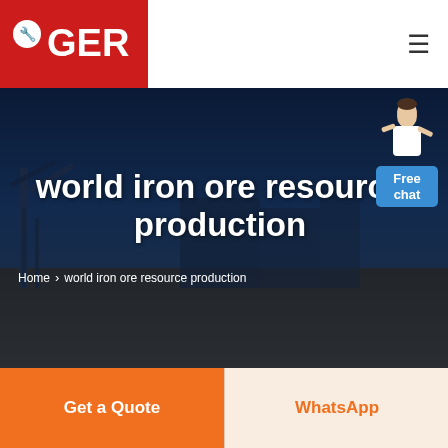[Figure (logo): GER company logo with wrench/pin icon on red background]
world iron ore resource production
Home > world iron ore resource production
[Figure (illustration): Free chat widget with person figure and blue speech bubble saying Free chat]
Get a Quote
WhatsApp